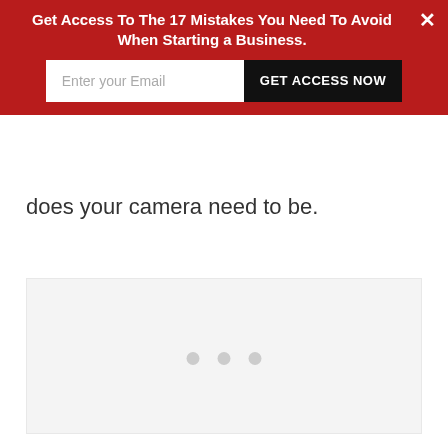[Figure (screenshot): Red promotional banner with text 'Get Access To The 17 Mistakes You Need To Avoid When Starting a Business.' with email input field and 'GET ACCESS NOW' button, and a close X button]
does your camera need to be.
[Figure (other): Light gray placeholder image area with three dots loading indicator at the bottom center]